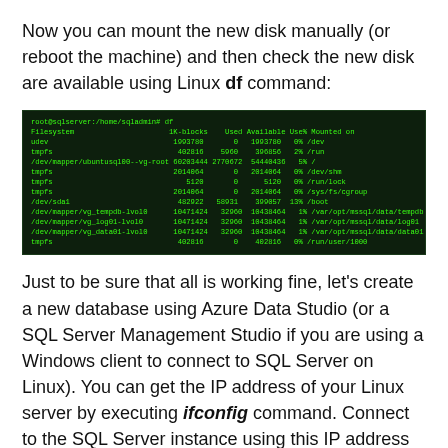Now you can mount the new disk manually (or reboot the machine) and then check the new disk are available using Linux df command:
[Figure (screenshot): Terminal screenshot showing output of the Linux 'df' command, listing filesystems including udev, tmpfs, /dev/mapper/ubuntusql00--vg-root, /dev/sda1, and several /dev/mapper/vg_ entries for SQL data/log/tempdb volumes.]
Just to be sure that all is working fine, let's create a new database using Azure Data Studio (or a SQL Server Management Studio if you are using a Windows client to connect to SQL Server on Linux). You can get the IP address of your Linux server by executing ifconfig command. Connect to the SQL Server instance using this IP address and SQL Server authentication, with the sa username and the password you provide during the